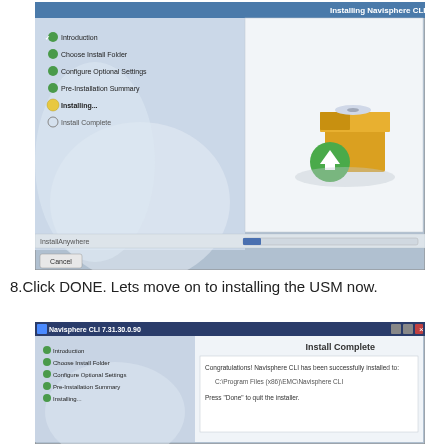[Figure (screenshot): Installer wizard screenshot showing 'Installing Navisphere CLI' screen with progress. Left panel shows steps: Introduction, Choose Install Folder, Configure Optional Settings, Pre-Installation Summary, Installing... (active), Install Complete. Right panel shows installation graphic with box and download icon. Status text: 'Installing... Java Runtime Environment'. Progress bar at bottom. Cancel button visible.]
8.Click DONE.  Lets move on to installing the USM now.
[Figure (screenshot): Navisphere CLI 7.31.30.0.90 installer window showing 'Install Complete' screen. Left panel shows all steps completed including Installing... checked. Right panel shows congratulations message: 'Congratulations! Navisphere CLI has been successfully installed to: C:\Program Files (x86)\EMC\Navisphere CLI. Press Done to quit the installer.']